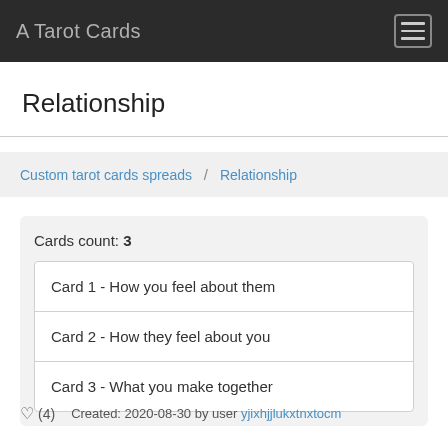A Tarot Cards
Relationship
Custom tarot cards spreads / Relationship
Cards count: 3
Card 1 - How you feel about them
Card 2 - How they feel about you
Card 3 - What you make together
♡ (4)   Created: 2020-08-30 by user yjixhjjlukxtnxtocm